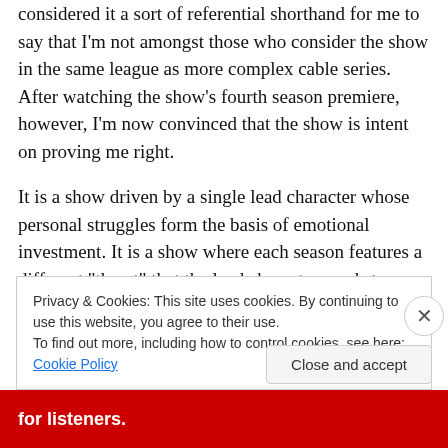considered it a sort of referential shorthand for me to say that I'm not amongst those who consider the show in the same league as more complex cable series. After watching the show's fourth season premiere, however, I'm now convinced that the show is intent on proving me right.
It is a show driven by a single lead character whose personal struggles form the basis of emotional investment. It is a show where each season features a different “threat” that the lead character needs to respond to. It is a show where the supporting characters are interesting when interacting with the lead, but mind-numbingly boring
Privacy & Cookies: This site uses cookies. By continuing to use this website, you agree to their use.
To find out more, including how to control cookies, see here: Cookie Policy
Close and accept
for listeners.